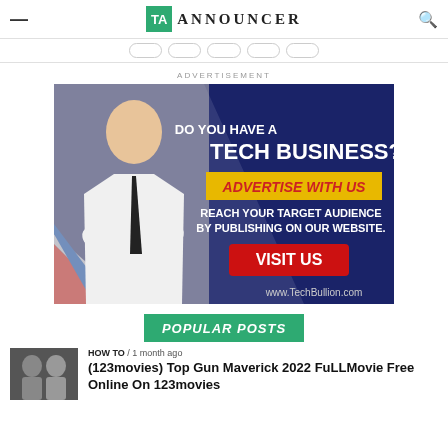TA TECH ANNOUNCER
ADVERTISEMENT
[Figure (photo): Advertisement banner for TechBullion.com: man in white shirt with crossed arms, dark blue background with text 'DO YOU HAVE A TECH BUSINESS? ADVERTISE WITH US REACH YOUR TARGET AUDIENCE BY PUBLISHING ON OUR WEBSITE. VISIT US www.TechBullion.com']
POPULAR POSTS
HOW TO / 1 month ago
(123movies) Top Gun Maverick 2022 FuLLMovie Free Online On 123movies